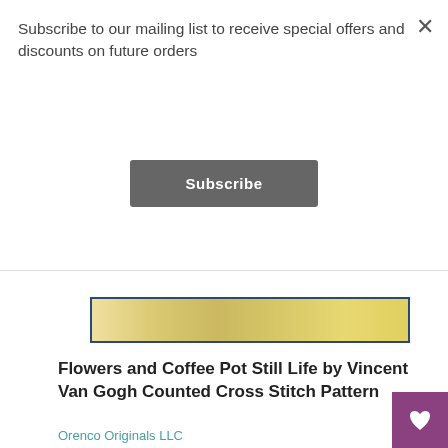Subscribe to our mailing list to receive special offers and discounts on future orders
Subscribe
[Figure (photo): Partial view of a cross stitch pattern product image strip showing beige/gold tones with blue border]
Flowers and Coffee Pot Still Life by Vincent Van Gogh Counted Cross Stitch Pattern
Orenco Originals LLC
$ 13.99 USD $ 10.49 USD
Add to Cart
[Figure (logo): Hot air balloon icon in teal/dark teal color]
25%
[Figure (photo): Second product image showing a cross stitch pattern with blue and white bird/crane design]